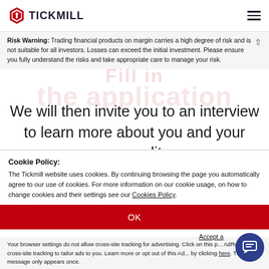TICKMILL
Risk Warning: Trading financial products on margin carries a high degree of risk and is not suitable for all investors. Losses can exceed the initial investment. Please ensure you fully understand the risks and take appropriate care to manage your risk.
We will then invite you to an interview to learn more about you and your personality.
Cookie Policy:
The Tickmill website uses cookies. By continuing browsing the page you automatically agree to our use of cookies. For more information on our cookie usage, on how to change cookies and their settings see our Cookies Policy.
OK
Accept a...
Your browser settings do not allow cross-site tracking for advertising. Click on this page AdRoll to use cross-site tracking to tailor ads to you. Learn more or opt out of this AdR... by clicking here. This message only appears once.